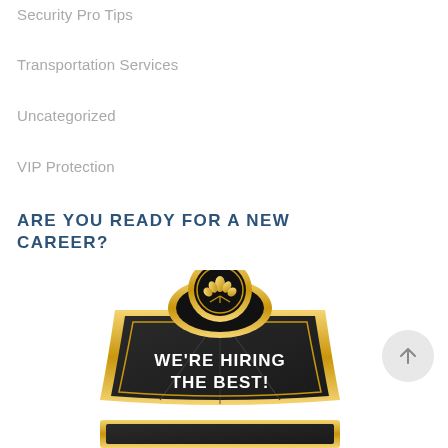Security Pro Tips
Transportation Services
Uncategorized
VIP Protection
ARE YOU READY FOR A NEW CAREER?
[Figure (illustration): Decorative badge/emblem with gold and black design featuring a floral motif and the text 'WE'RE HIRING THE BEST!']